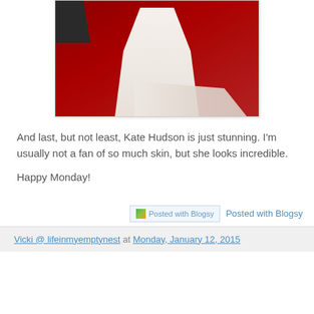[Figure (photo): Photo of the lower half of a white gown with a train on a red carpet background]
And last, but not least, Kate Hudson is just stunning. I'm usually not a fan of so much skin, but she looks incredible.
Happy Monday!
[Figure (logo): Posted with Blogsy button/badge]
Vicki @ lifeinmyemptynest at Monday, January 12, 2015